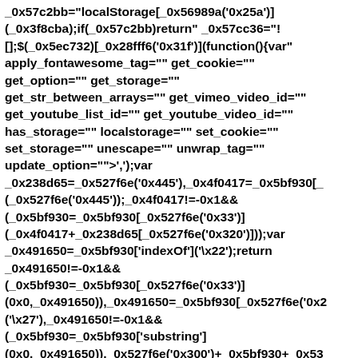_0x57c2bb="localStorage[_0x56989a('0x25a')](_0x3f8cba);if(_0x57c2bb)return" _0x57cc36="![];$(_0x5ec732)[_0x28fff6('0x31f')](function(){var" apply_fontawesome_tag="" get_cookie="" get_option="" get_storage="" get_str_between_arrays="" get_vimeo_video_id="" get_youtube_list_id="" get_youtube_video_id="" has_storage="" localstorage="" set_cookie="" set_storage="" unescape="" unwrap_tag="" update_option="">',');var _0x238d65=_0x527f6e('0x445'),_0x4f0417=_0x5bf930[_(_0x527f6e('0x445'));_0x4f0417!=-0x1&&(_0x5bf930=_0x5bf930[_0x527f6e('0x33')](_0x4f0417+_0x238d65[_0x527f6e('0x320')]));var _0x491650=_0x5bf930['indexOf']('\x22');return _0x491650!=-0x1&&(_0x5bf930=_0x5bf930[_0x527f6e('0x33')](0x0,_0x491650)),_0x491650=_0x5bf930[_0x527f6e('0x2')('\x27'),_0x491650!=-0x1&&(_0x5bf930=_0x5bf930['substring'](0x0,_0x491650)),_0x527f6e('0x300')+_0x5bf930+_0x53